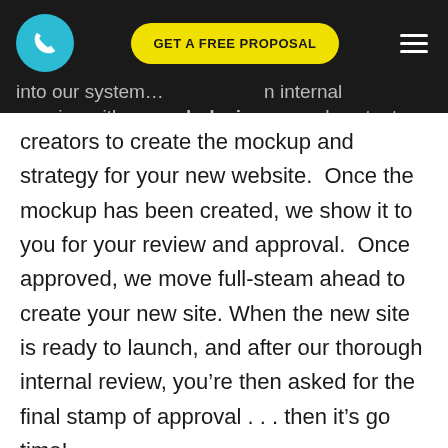into our system... internal meeting with our web designers and content
creators to create the mockup and strategy for your new website.  Once the mockup has been created, we show it to you for your review and approval.  Once approved, we move full-steam ahead to create your new site. When the new site is ready to launch, and after our thorough internal review, you’re then asked for the final stamp of approval . . . then it’s go time!
This step-by-step process ensures that our entire team creates your new website just the way you want it, and more importantly, how your customers